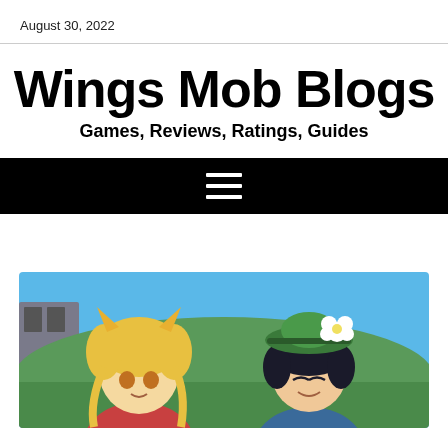August 30, 2022
Wings Mob Blogs
Games, Reviews, Ratings, Guides
[Figure (other): Black navigation bar with a white hamburger menu icon (three horizontal lines)]
[Figure (illustration): Anime-style video game screenshot showing two characters: one with blonde hair and cat ears on the left, and one with dark hair wearing a green hat with a white flower on the right. Background shows a blue sky and green rooftops.]